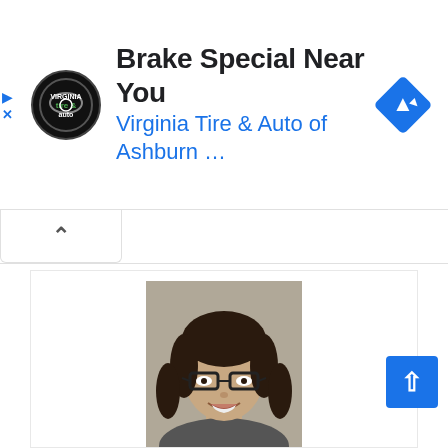[Figure (other): Advertisement banner: Virginia Tire & Auto of Ashburn logo (circular black badge with tire and auto text), ad headline 'Brake Special Near You', subtitle 'Virginia Tire & Auto of Ashburn ...', and a blue diamond turn-by-turn navigation icon on the right. Play and X controls on the left edge.]
[Figure (other): Collapse/minimize tab button with upward chevron (^) symbol, positioned below the ad banner on the left side.]
[Figure (photo): Profile photo of Natalie Garcia, a young woman with dark hair and glasses, smiling, against a gray background.]
Natalie Garcia
I'm Natalie Garcia and I started this website to share my love of trivia, facts and fun knowledge tidbits. We cover things like celebrity gossip, historical facts, tv shows, world leaders and just odd and random fun things.  I started this site to have some fun with my hobby and share some useful information with you, our community. Please feel free to send me your suggestions and